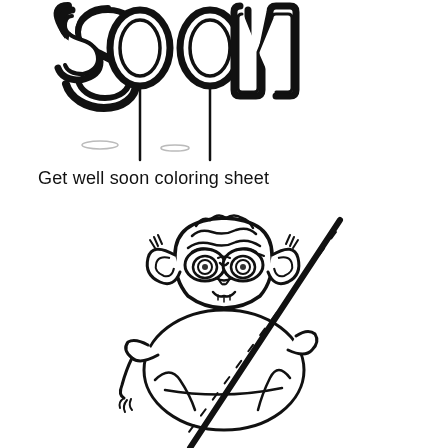[Figure (illustration): Coloring sheet illustration showing the word SOON in large bubble/graffiti letters at the top with two vertical lines hanging down from them like balloons, and below a cartoon drawing of Yoda from Star Wars holding a walking stick/staff, depicted in black outline style ready to be colored in.]
Get well soon coloring sheet